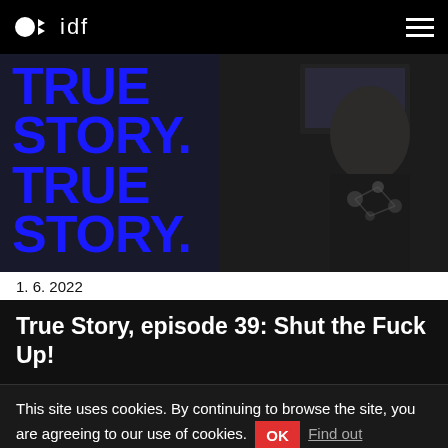idf
[Figure (photo): Video thumbnail showing large blue bold text 'TRUE STORY. TRUE STORY.' on left side and a man in black shirt on right side against dark background]
1. 6. 2022
True Story, episode 39: Shut the Fuck Up!
This site uses cookies. By continuing to browse the site, you are agreeing to our use of cookies. OK Find out more.